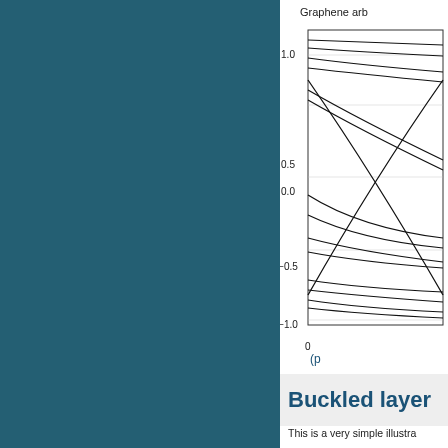[Figure (continuous-plot): Band structure plot titled 'Graphene arb...' showing band energy (y-axis, range -1.0 to 1.0) vs k (x-axis, starting at 0). Multiple bands (lines) are shown crossing and converging, typical of a graphene band structure calculation.]
(p...
Buckled layer
This is a very simple illustra...